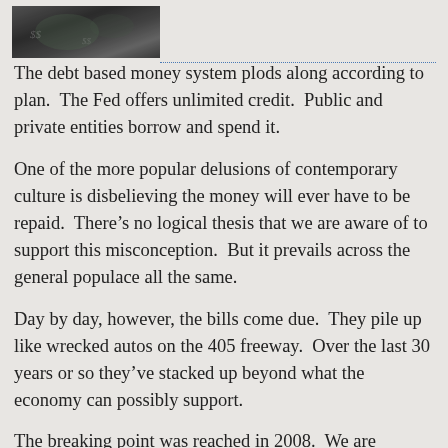[Figure (photo): Grayscale photograph of currency/money, partially visible at the top left corner of the page]
The debt based money system plods along according to plan.  The Fed offers unlimited credit.  Public and private entities borrow and spend it.
One of the more popular delusions of contemporary culture is disbelieving the money will ever have to be repaid.  There’s no logical thesis that we are aware of to support this misconception.  But it prevails across the general populace all the same.
Day by day, however, the bills come due.  They pile up like wrecked autos on the 405 freeway.  Over the last 30 years or so they’ve stacked up beyond what the economy can possibly support.
The breaking point was reached in 2008.  We are